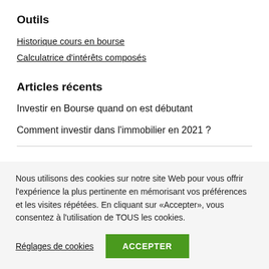Outils
Historique cours en bourse
Calculatrice d'intérêts composés
Articles récents
Investir en Bourse quand on est débutant
Comment investir dans l'immobilier en 2021 ?
Nous utilisons des cookies sur notre site Web pour vous offrir l'expérience la plus pertinente en mémorisant vos préférences et les visites répétées. En cliquant sur «Accepter», vous consentez à l'utilisation de TOUS les cookies.
Réglages de cookies
ACCEPTER